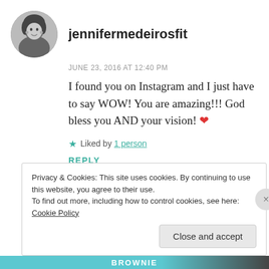[Figure (photo): Circular avatar photo of a woman in black and white]
jennifermedeirosfit
JUNE 23, 2016 AT 12:40 PM
I found you on Instagram and I just have to say WOW! You are amazing!!! God bless you AND your vision! ❤
★ Liked by 1 person
REPLY
Privacy & Cookies: This site uses cookies. By continuing to use this website, you agree to their use.
To find out more, including how to control cookies, see here: Cookie Policy
Close and accept